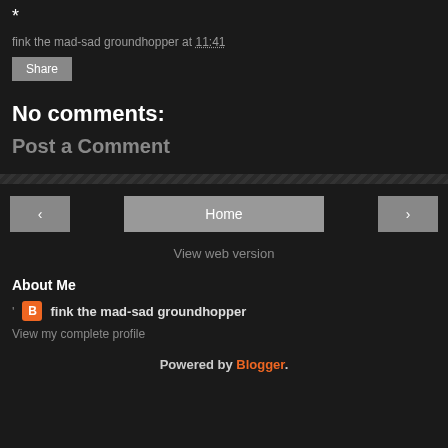*
fink the mad-sad groundhopper at 11:41
Share
No comments:
Post a Comment
< Home >
View web version
About Me
fink the mad-sad groundhopper
View my complete profile
Powered by Blogger.